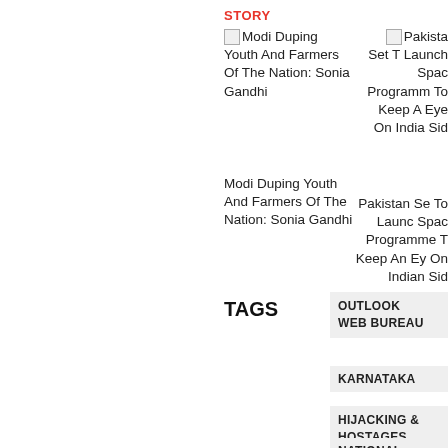STORY
Modi Duping Youth And Farmers Of The Nation: Sonia Gandhi
Modi Duping Youth And Farmers Of The Nation: Sonia Gandhi
Pakistan Set To Launch Space Programme To Keep An Eye On Indian Side
Pakistan Set To Launch Space Programme To Keep An Eye On Indian Side
TAGS
OUTLOOK WEB BUREAU
KARNATAKA
HIJACKING & HOSTAGES
NATIONAL